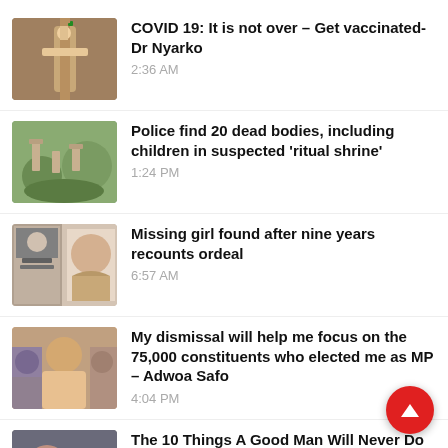COVID 19: It is not over – Get vaccinated- Dr Nyarko
Police find 20 dead bodies, including children in suspected 'ritual shrine'
Missing girl found after nine years recounts ordeal
My dismissal will help me focus on the 75,000 constituents who elected me as MP – Adwoa Safo
The 10 Things A Good Man Will Never Do In A Healthy Relationship